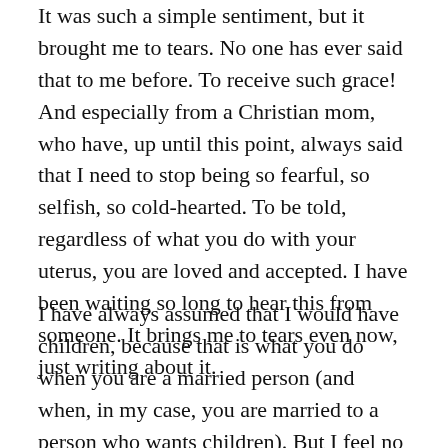It was such a simple sentiment, but it brought me to tears. No one has ever said that to me before. To receive such grace! And especially from a Christian mom, who have, up until this point, always said that I need to stop being so fearful, so selfish, so cold-hearted. To be told, regardless of what you do with your uterus, you are loved and accepted. I have been waiting so long to hear this from someone. It brings me to tears even now, just writing about it.
I have always assumed that I would have children, because that is what you do when you are a married person (and when, in my case, you are married to a person who wants children). But I feel no great fervor for child-